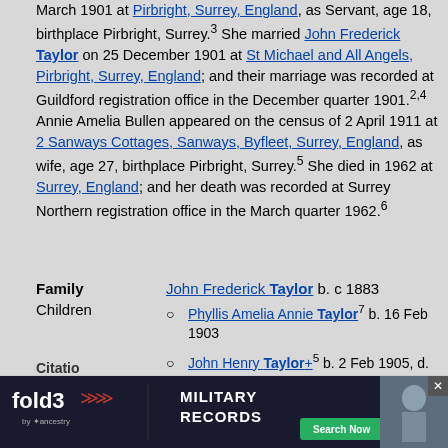March 1901 at Pirbright, Surrey, England, as Servant, age 18, birthplace Pirbright, Surrey.3 She married John Frederick Taylor on 25 December 1901 at St Michael and All Angels, Pirbright, Surrey, England; and their marriage was recorded at Guildford registration office in the December quarter 1901.2,4 Annie Amelia Bullen appeared on the census of 2 April 1911 at 2 Sanways Cottages, Sanways, Byfleet, Surrey, England, as wife, age 27, birthplace Pirbright, Surrey.5 She died in 1962 at Surrey, England; and her death was recorded at Surrey Northern registration office in the March quarter 1962.6
| Label | Value |
| --- | --- |
| Family | John Frederick Taylor b. c 1883 |
| Children | Phyllis Amelia Annie Taylor7 b. 16 Feb 1903 |
|  | John Henry Taylor+5 b. 2 Feb 1905, d. b 30 Jan 1962 |
|  | George William Taylor5 b. 25 Feb 1906, d. Apr 1990 |
|  | Frank Richard Taylor5 b. 9 Nov 1907, d. 1997 |
|  | Ellen Francis Taylor5 b. 1910 |
Citation